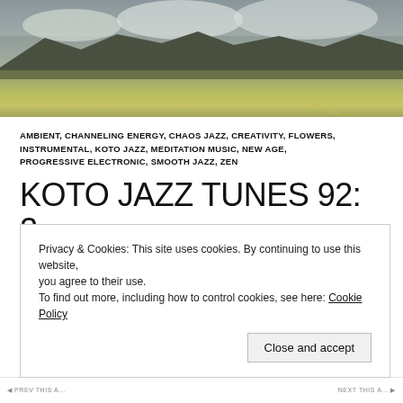[Figure (photo): Landscape photograph of a mountain range with snow-capped peaks in the background and a wide green/golden plain in the foreground under overcast skies.]
AMBIENT, CHANNELING ENERGY, CHAOS JAZZ, CREATIVITY, FLOWERS, INSTRUMENTAL, KOTO JAZZ, MEDITATION MUSIC, NEW AGE, PROGRESSIVE ELECTRONIC, SMOOTH JAZZ, ZEN
KOTO JAZZ TUNES 92: 2 ORIGINALS “REPRESENT THE WEST” @ SANGRE DE
Privacy & Cookies: This site uses cookies. By continuing to use this website, you agree to their use.
To find out more, including how to control cookies, see here: Cookie Policy
Close and accept